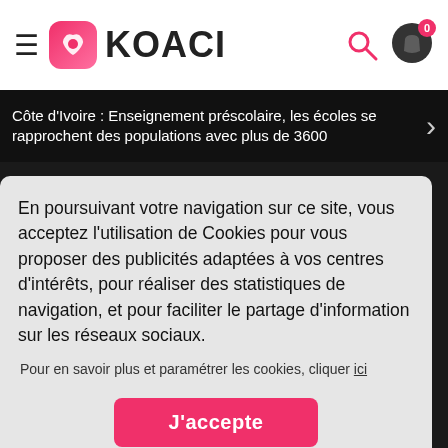KOACI
Côte d'Ivoire : Enseignement préscolaire, les écoles se rapprochent des populations avec plus de 3600
En poursuivant votre navigation sur ce site, vous acceptez l'utilisation de Cookies pour vous proposer des publicités adaptées à vos centres d'intérêts, pour réaliser des statistiques de navigation, et pour faciliter le partage d'information sur les réseaux sociaux.
Pour en savoir plus et paramétrer les cookies, cliquer ici
J'accepte
DADJU - AMBASSADEUR (ANIMATEUR BRIGADE)